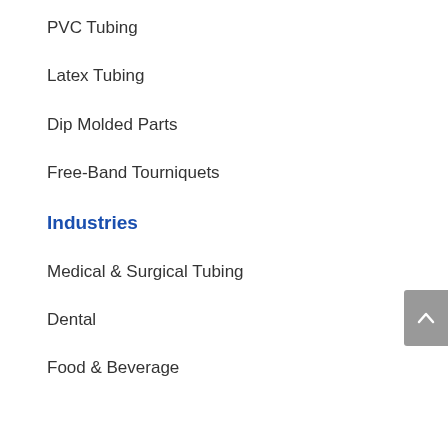PVC Tubing
Latex Tubing
Dip Molded Parts
Free-Band Tourniquets
Industries
Medical & Surgical Tubing
Dental
Food & Beverage
Industries Served